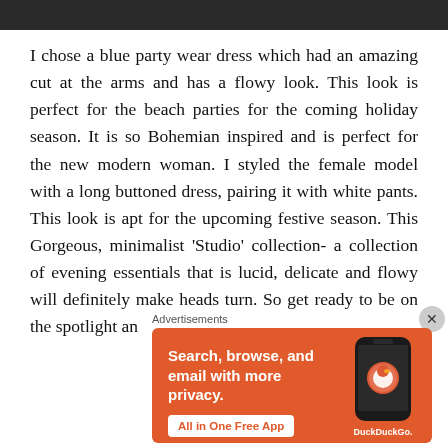[Figure (photo): Dark photo strip at top of page, partial image]
I chose a blue party wear dress which had an amazing cut at the arms and has a flowy look. This look is perfect for the beach parties for the coming holiday season. It is so Bohemian inspired and is perfect for the new modern woman. I styled the female model with a long buttoned dress, pairing it with white pants. This look is apt for the upcoming festive season. This Gorgeous, minimalist ‘Studio’ collection- a collection of evening essentials that is lucid, delicate and flowy will definitely make heads turn. So get ready to be on the spotlight an
Advertisements
[Figure (screenshot): DuckDuckGo advertisement banner with orange background. Text: Search, browse, and email with more privacy. All in One Free App. DuckDuckGo logo with duck icon and phone graphic.]